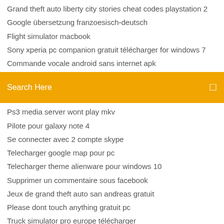Grand theft auto liberty city stories cheat codes playstation 2
Google übersetzung franzoesisch-deutsch
Flight simulator macbook
Sony xperia pc companion gratuit télécharger for windows 7
Commande vocale android sans internet apk
[Figure (screenshot): Search bar with orange background and placeholder text 'Search Here' with a search icon on the right]
Ps3 media server wont play mkv
Pilote pour galaxy note 4
Se connecter avec 2 compte skype
Telecharger google map pour pc
Telecharger theme alienware pour windows 10
Supprimer un commentaire sous facebook
Jeux de grand theft auto san andreas gratuit
Please dont touch anything gratuit pc
Truck simulator pro europe télécharger
Jeux de rolling sky en ligne